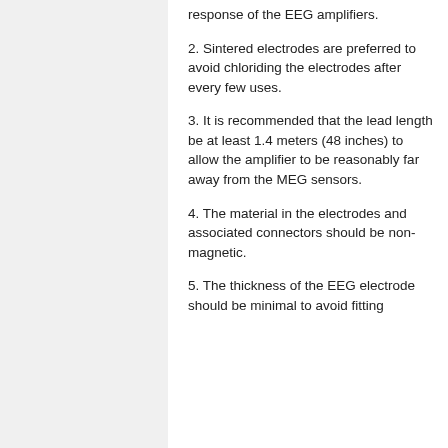response of the EEG amplifiers.
2. Sintered electrodes are preferred to avoid chloriding the electrodes after every few uses.
3. It is recommended that the lead length be at least 1.4 meters (48 inches) to allow the amplifier to be reasonably far away from the MEG sensors.
4. The material in the electrodes and associated connectors should be non-magnetic.
5. The thickness of the EEG electrode should be minimal to avoid fitting